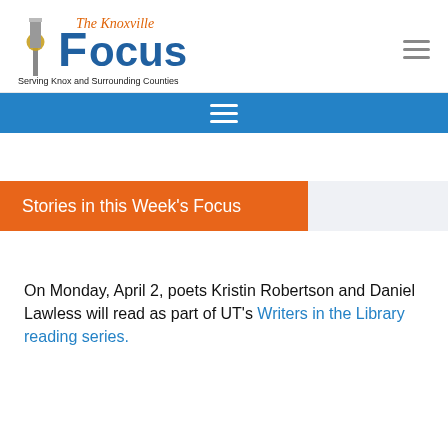The Knoxville Focus — Serving Knox and Surrounding Counties
Stories in this Week's Focus
On Monday, April 2, poets Kristin Robertson and Daniel Lawless will read as part of UT's Writers in the Library reading series.